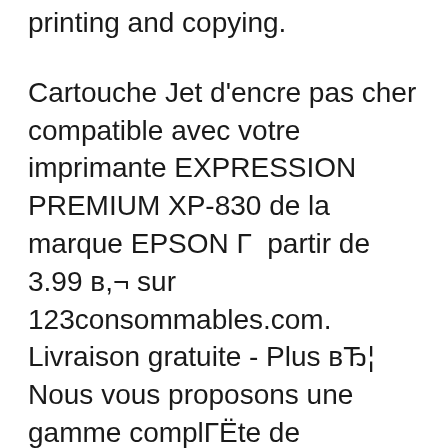printing and copying.
Cartouche Jet d'encre pas cher compatible avec votre imprimante EXPRESSION PREMIUM XP-830 de la marque EPSON Г  partir de 3.99 в,¬ sur 123consommables.com. Livraison gratuite - Plus вЂ¦ Nous vous proposons une gamme complГЁte de cartouches d'encre pour tous les types d'imprimantes. Nous vous proposons une gamme de cartouches 100% compatibles, de cartouches recyclГ©es, mais Г©galement, des cartouches de la marque de votre imprimante.
Nous vous proposons une gamme complГЁte de cartouches d'encre pour